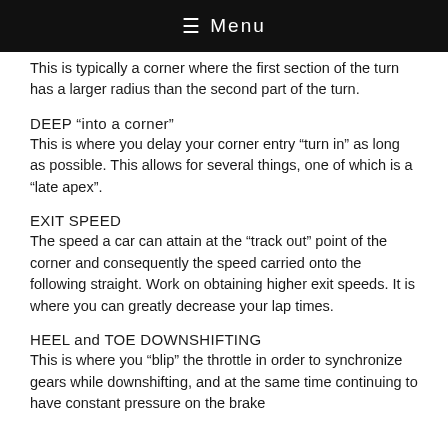☰ Menu
This is typically a corner where the first section of the turn has a larger radius than the second part of the turn.
DEEP “into a corner”
This is where you delay your corner entry “turn in” as long as possible. This allows for several things, one of which is a “late apex”.
EXIT SPEED
The speed a car can attain at the “track out” point of the corner and consequently the speed carried onto the following straight. Work on obtaining higher exit speeds. It is where you can greatly decrease your lap times.
HEEL and TOE DOWNSHIFTING
This is where you “blip” the throttle in order to synchronize gears while downshifting, and at the same time continuing to have constant pressure on the brake